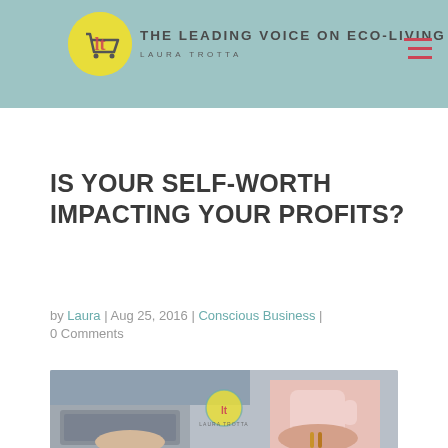THE LEADING VOICE ON ECO-LIVING | LAURA TROTTA
IS YOUR SELF-WORTH IMPACTING YOUR PROFITS?
by Laura | Aug 25, 2016 | Conscious Business | 0 Comments
[Figure (photo): Person working on laptop while holding a pink mug, sitting on a couch, with a watermark logo overlay]